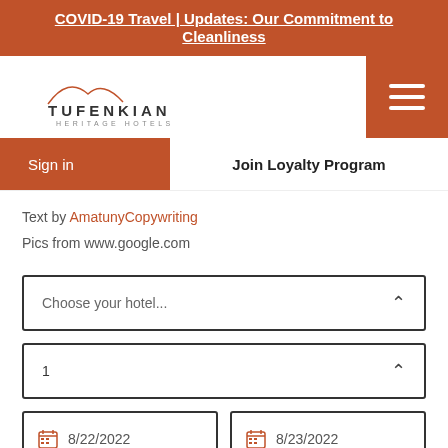COVID-19 Travel | Updates: Our Commitment to Cleanliness
[Figure (logo): Tufenkian Heritage Hotels logo with mountain outline]
Sign in
Join Loyalty Program
Text by AmatunyCopywriting
Pics from www.google.com
Choose your hotel...
1
8/22/2022
8/23/2022